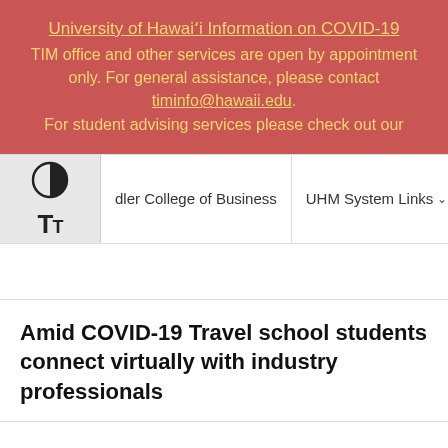University of Hawai'i Information on COVID-19
TIM office and other services are open by appointment only. For general assistance, please contact timinfo@hawaii.edu.
For student advising services please check out our
[Figure (screenshot): University website navigation bar with contrast toggle icon, text size icon, navigation items: Shidler College of Business, UHM System Links (with dropdown chevron), Contact, and hamburger menu icon on the right]
Amid COVID-19 Travel school students connect virtually with industry professionals